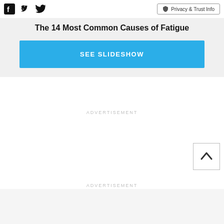Facebook Twitter | Privacy & Trust Info
The 14 Most Common Causes of Fatigue
SEE SLIDESHOW
ADVERTISEMENT
ADVERTISEMENT